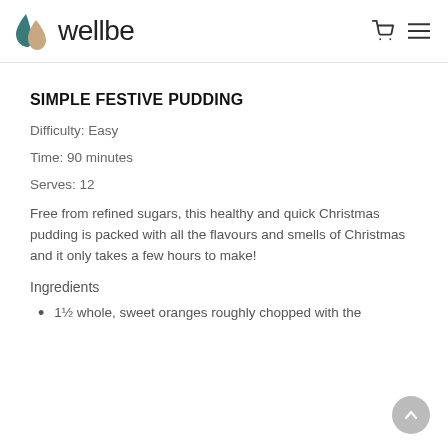wellbe
SIMPLE FESTIVE PUDDING
Difficulty: Easy
Time: 90 minutes
Serves: 12
Free from refined sugars, this healthy and quick Christmas pudding is packed with all the flavours and smells of Christmas and it only takes a few hours to make!
Ingredients
1½ whole, sweet oranges roughly chopped with the